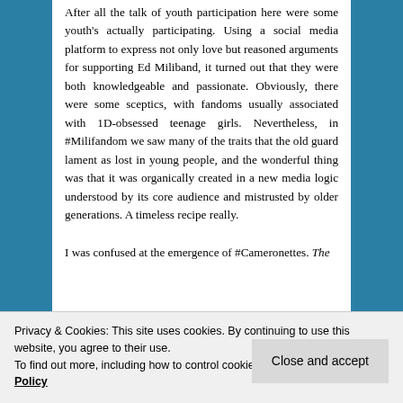After all the talk of youth participation here were some youth's actually participating. Using a social media platform to express not only love but reasoned arguments for supporting Ed Miliband, it turned out that they were both knowledgeable and passionate. Obviously, there were some sceptics, with fandoms usually associated with 1D-obsessed teenage girls. Nevertheless, in #Milifandom we saw many of the traits that the old guard lament as lost in young people, and the wonderful thing was that it was organically created in a new media logic understood by its core audience and mistrusted by older generations. A timeless recipe really.
I was confused at the emergence of #Cameronettes. The Telegra...
Privacy & Cookies: This site uses cookies. By continuing to use this website, you agree to their use.
To find out more, including how to control cookies, see here: Cookie Policy